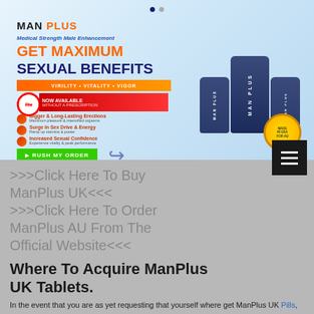[Figure (infographic): ManPlus male enhancement supplement advertisement banner showing product bottles, couple, bullet points, and 'Rush My Order' button]
>>>Click Here To Buy ManPlus UK<<<
>>>Click Here To Order ManPlus AU From The Official Website<<<
Where To Acquire ManPlus UK Tablets.
In the event that you are as yet requesting that yourself where get ManPlus UK Pills, you